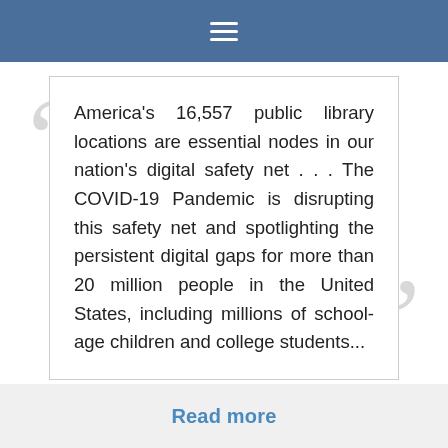☰
America's 16,557 public library locations are essential nodes in our nation's digital safety net . . . The COVID-19 Pandemic is disrupting this safety net and spotlighting the persistent digital gaps for more than 20 million people in the United States, including millions of school-age children and college students...
Read more